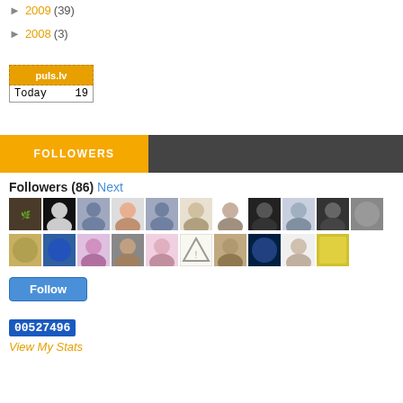► 2009 (39)
► 2008 (3)
[Figure (screenshot): puls.lv widget showing Today: 19]
[Figure (infographic): FOLLOWERS header bar in yellow and dark gray]
Followers (86) Next
[Figure (photo): Grid of follower avatar photos, row 1, 11 avatars]
[Figure (photo): Grid of follower avatar photos, row 2, 10 avatars]
Follow
00527496
View My Stats